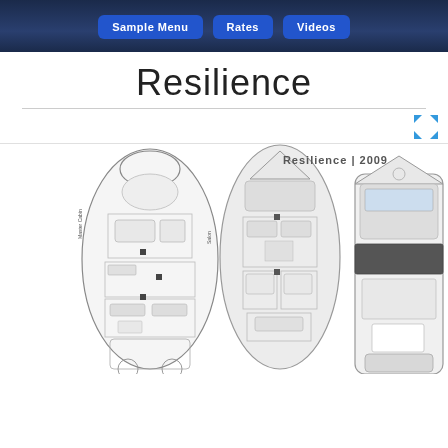Sample Menu | Rates | Videos
Resilience
[Figure (schematic): Yacht floor plan / boat layout schematic showing three vertical cross-section views of a yacht named Resilience (labeled 'Resilience | 2009'). The diagrams show the interior deck layout with cabin labels including 'Master Cabin' and 'Salon', depicting rooms, berths, heads, and engine compartments from a top-down perspective.]